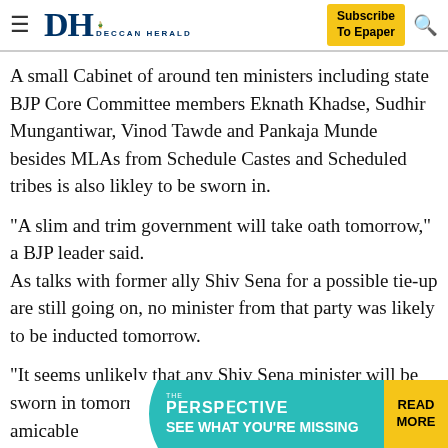Deccan Herald — Subscribe To Epaper
A small Cabinet of around ten ministers including state BJP Core Committee members Eknath Khadse, Sudhir Mungantiwar, Vinod Tawde and Pankaja Munde besides MLAs from Schedule Castes and Scheduled tribes is also likley to be sworn in.
"A slim and trim government will take oath tomorrow," a BJP leader said.
As talks with former ally Shiv Sena for a possible tie-up are still going on, no minister from that party was likely to be inducted tomorrow.
"It seems unlikely that any Shiv Sena minister will be sworn in tomorrow. Talks with Sena are on in an amicable
[Figure (advertisement): The Perspective advertisement banner: 'SEE WHAT YOU'RE MISSING — READ MORE' on teal/cyan background with yellow button]